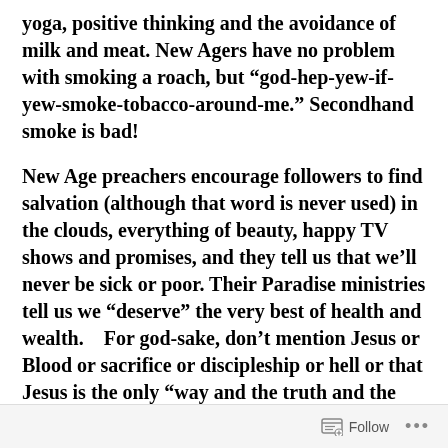yoga, positive thinking and the avoidance of milk and meat. New Agers have no problem with smoking a roach, but “god-hep-yew-if-yew-smoke-tobacco-around-me.” Secondhand smoke is bad!
New Age preachers encourage followers to find salvation (although that word is never used) in the clouds, everything of beauty, happy TV shows and promises, and they tell us that we’ll never be sick or poor. Their Paradise ministries tell us we “deserve” the very best of health and wealth.    For god-sake, don’t mention Jesus or Blood or sacrifice or discipleship or hell or that Jesus is the only “way and the truth and the life. NO ONE comes to the Father except through me.”    John 14:6 (niv)
Follow …